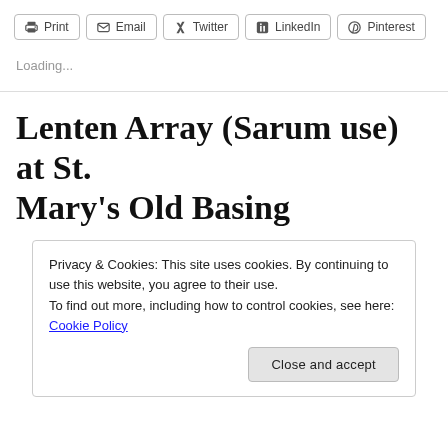Print | Email | Twitter | LinkedIn | Pinterest
Loading...
Lenten Array (Sarum use) at St. Mary's Old Basing
Privacy & Cookies: This site uses cookies. By continuing to use this website, you agree to their use.
To find out more, including how to control cookies, see here: Cookie Policy
Close and accept